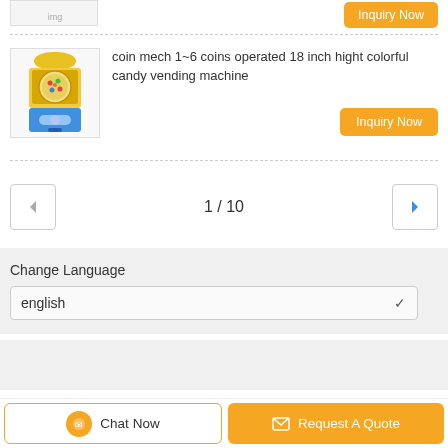[Figure (photo): Partial view of a product image at top (cut off)]
coin mech 1~6 coins operated 18 inch hight colorful candy vending machine
Inquiry Now
Inquiry Now
1 / 10
Change Language
english
Home | About Us | Contact Us
Desktop View
Copyright © 2019 - 2022 deervending.com. All rights reserved.
Chat Now
Request A Quote